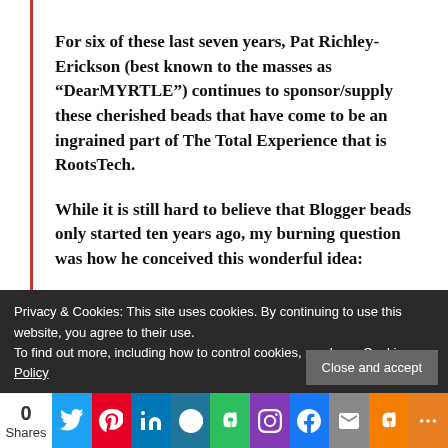For six of these last seven years, Pat Richley-Erickson (best known to the masses as “DearMYRTLE”) continues to sponsor/supply these cherished beads that have come to be an ingrained part of The Total Experience that is RootsTech.
While it is still hard to believe that Blogger beads only started ten years ago, my burning question was how he conceived this wonderful idea:
“One deficiency of having an online community is the inability to recognize another member in
Privacy & Cookies: This site uses cookies. By continuing to use this website, you agree to their use.
To find out more, including how to control cookies, see here: Cookie Policy
Close and accept
0
Shares